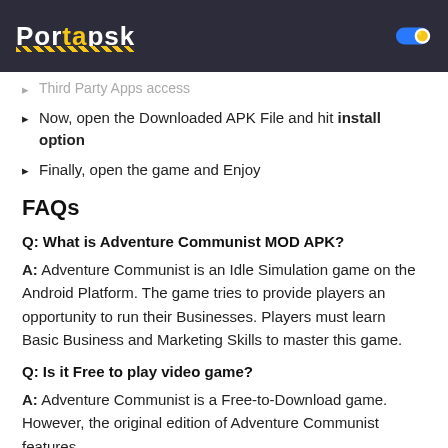PortalAPK
Third Party Apps access
Now, open the Downloaded APK File and hit install option
Finally, open the game and Enjoy
FAQs
Q: What is Adventure Communist MOD APK?
A: Adventure Communist is an Idle Simulation game on the Android Platform. The game tries to provide players an opportunity to run their Businesses. Players must learn Basic Business and Marketing Skills to master this game.
Q: Is it Free to play video game?
A: Adventure Communist is a Free-to-Download game. However, the original edition of Adventure Communist features in-app purchases. You cannot buy the in-app